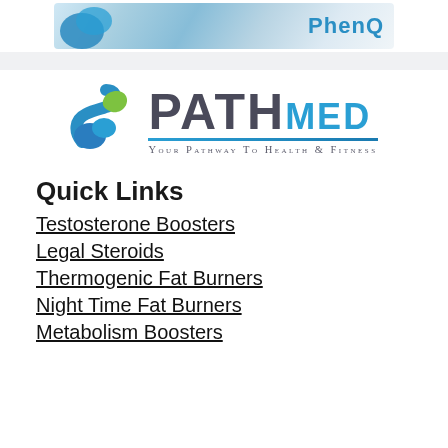[Figure (photo): PhenQ product banner image with blue background]
[Figure (logo): PathMed logo with blue-green S-curve icon, 'PATH' in dark gray bold, 'MED' in blue bold, underline, tagline 'Your Pathway To Health & Fitness']
Quick Links
Testosterone Boosters
Legal Steroids
Thermogenic Fat Burners
Night Time Fat Burners
Metabolism Boosters